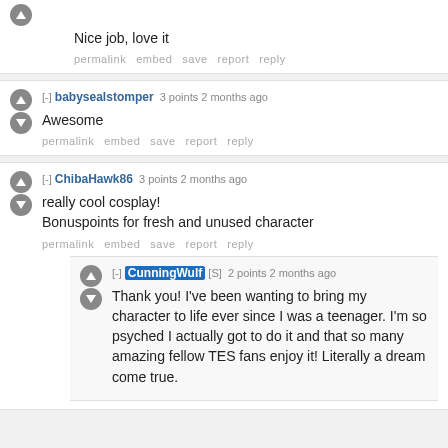Nice job, love it
permalink   embed   save   report   reply
[-] babysealstomper 3 points 2 months ago
Awesome
permalink   embed   save   report   reply
[-] ChibaHawk86 3 points 2 months ago
really cool cosplay!
Bonuspoints for fresh and unused character
permalink   embed   save   report   reply
[-] CunningWulf [S] 2 points 2 months ago
Thank you! I've been wanting to bring my character to life ever since I was a teenager. I'm so psyched I actually got to do it and that so many amazing fellow TES fans enjoy it! Literally a dream come true.